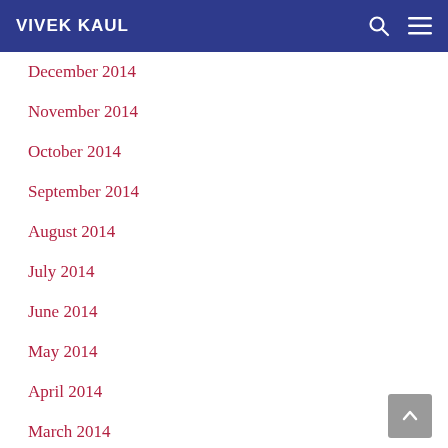VIVEK KAUL
December 2014
November 2014
October 2014
September 2014
August 2014
July 2014
June 2014
May 2014
April 2014
March 2014
February 2014
January 2014
December 2013